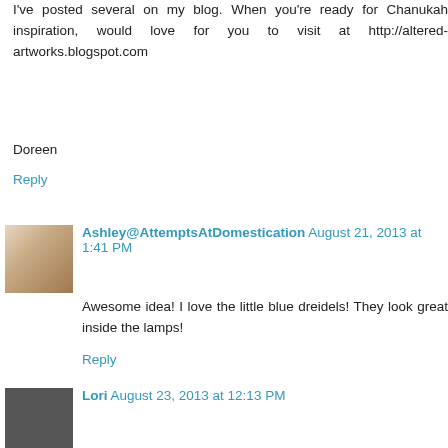I've posted several on my blog. When you're ready for Chanukah inspiration, would love for you to visit at http://altered-artworks.blogspot.com
Doreen
Reply
Ashley@AttemptsAtDomestication August 21, 2013 at 1:41 PM
Awesome idea! I love the little blue dreidels! They look great inside the lamps!
Reply
Lori August 23, 2013 at 12:13 PM
I love that lamp and how great that you can change the filler depending on the season/holiday. Now I'm dreaming of latkes... :-)
Reply